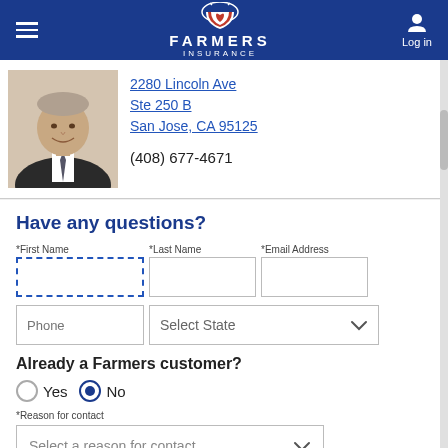Farmers Insurance — Log in
[Figure (photo): Headshot of a middle-aged man in a dark suit and tie, smiling]
2280 Lincoln Ave
Ste 250 B
San Jose, CA 95125

(408) 677-4671
Have any questions?
*First Name | *Last Name | *Email Address (form fields)
Phone | Select State (form fields)
Already a Farmers customer?
Yes / No (radio buttons, No selected)
*Reason for contact
Select a reason for contact (dropdown)
* Denotes a required field